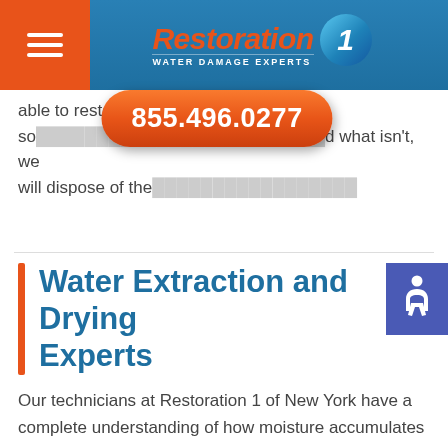Restoration 1 - Water Damage Experts
able to restore so[me items] and what isn't, we will dispose of the[m].
[Figure (other): Orange pill-shaped phone button with number 855.496.0277]
Water Extraction and Drying Experts
Our technicians at Restoration 1 of New York have a complete understanding of how moisture accumulates in buildings. This knowledge is critical when handling water extraction and drying services, in order for them to be successful. Our team is professionally trained and certified by the IICRC. We can quickly mobilize a team to help restore your property and get you back on track.